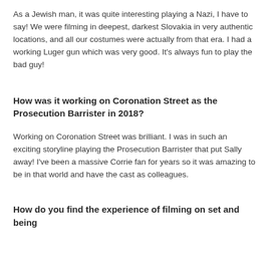As a Jewish man, it was quite interesting playing a Nazi, I have to say! We were filming in deepest, darkest Slovakia in very authentic locations, and all our costumes were actually from that era. I had a working Luger gun which was very good. It's always fun to play the bad guy!
How was it working on Coronation Street as the Prosecution Barrister in 2018?
Working on Coronation Street was brilliant. I was in such an exciting storyline playing the Prosecution Barrister that put Sally away! I've been a massive Corrie fan for years so it was amazing to be in that world and have the cast as colleagues.
How do you find the experience of filming on set and being...